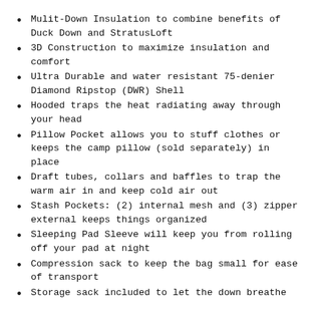Mulit-Down Insulation to combine benefits of Duck Down and StratusLoft
3D Construction to maximize insulation and comfort
Ultra Durable and water resistant 75-denier Diamond Ripstop (DWR) Shell
Hooded traps the heat radiating away through your head
Pillow Pocket allows you to stuff clothes or keeps the camp pillow (sold separately) in place
Draft tubes, collars and baffles to trap the warm air in and keep cold air out
Stash Pockets: (2) internal mesh and (3) zipper external keeps things organized
Sleeping Pad Sleeve will keep you from rolling off your pad at night
Compression sack to keep the bag small for ease of transport
Storage sack included to let the down breathe and keep its insulation properties